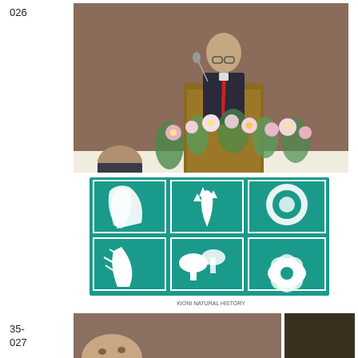026
[Figure (photo): A man in a dark suit with a red tie stands at a wooden podium speaking at a conference. Flowers are arranged in front of the podium. A teal and white banner with botanical illustrations (plants, ferns, mushrooms, flowers) hangs below. Another person is partially visible seated behind the podium area.]
[Figure (photo): Partial view of a person's face at the bottom left, beginning of another photo.]
35-027